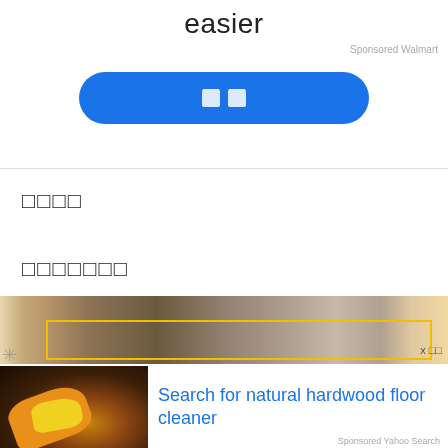easier
Sponsored Walmart
[Figure (other): Blue pill-shaped button with two white squares/icons centered on it]
□□□□
□□□□□□□
[Figure (photo): Blurred photo strip showing a person cleaning a hardwood floor, with a yellow rectangular outline overlay]
[Figure (photo): Ad image showing an orange-gloved hand with yellow cloth wiping a dark hardwood surface]
Search for natural hardwood floor cleaner
Sponsored Yahoo Search